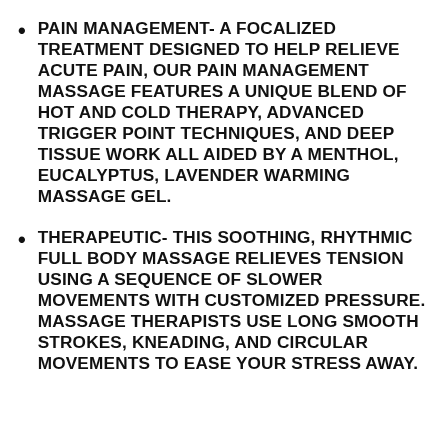PAIN MANAGEMENT- A FOCALIZED TREATMENT DESIGNED TO HELP RELIEVE ACUTE PAIN, OUR PAIN MANAGEMENT MASSAGE FEATURES A UNIQUE BLEND OF HOT AND COLD THERAPY, ADVANCED TRIGGER POINT TECHNIQUES, AND DEEP TISSUE WORK ALL AIDED BY A MENTHOL, EUCALYPTUS, LAVENDER WARMING MASSAGE GEL.
THERAPEUTIC- THIS SOOTHING, RHYTHMIC FULL BODY MASSAGE RELIEVES TENSION USING A SEQUENCE OF SLOWER MOVEMENTS WITH CUSTOMIZED PRESSURE. MASSAGE THERAPISTS USE LONG SMOOTH STROKES, KNEADING, AND CIRCULAR MOVEMENTS TO EASE YOUR STRESS AWAY.